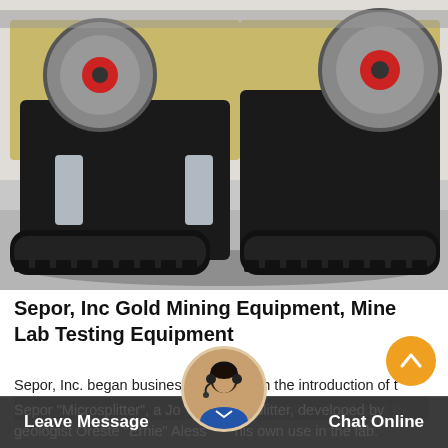[Figure (photo): Large yellow and black tracked jaw crusher / mining equipment inside an industrial facility. Two large flywheel discs with red centers visible on the top right and left sides.]
Sepor, Inc Gold Mining Equipment, Mine Lab Testing Equipment
Sepor, Inc. began business in 1953 with the introduction of the Sepor "Microsplitter", a Jones-type riffle splitter, developed by geologist Oreste "Ernie" Alessandro his own use in the lab.
Leave Message   Chat Online